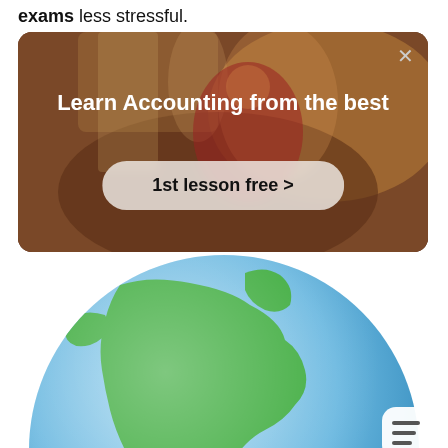exams less stressful.
[Figure (screenshot): Advertisement card for an accounting tutoring service showing 'Learn Accounting from the best' with a '1st lesson free >' button, overlaid on a warm-toned video still of a person, with a close (×) button in the top-right corner.]
[Figure (illustration): 3D cartoon-style globe showing the Americas (North and South America) in green on a light blue ocean background, partially cropped at the bottom of the page. A chat/menu icon appears in the bottom-right corner.]